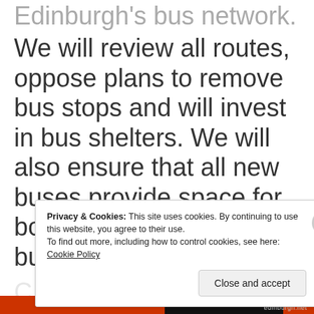Edinburgh's bus network. We will review all routes, oppose plans to remove bus stops and will invest in bus shelters. We will also ensure that all new buses provide space for both wheelchairs and buggies.
Privacy & Cookies: This site uses cookies. By continuing to use this website, you agree to their use.
To find out more, including how to control cookies, see here: Cookie Policy
Close and accept